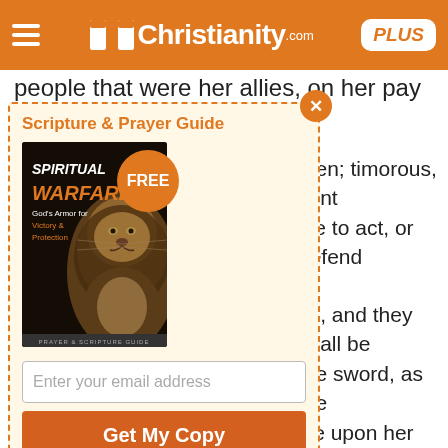Christianity.com PLUS
people that were her allies, on her pay and
[Figure (infographic): Popup advertisement for a free 'Spiritual Warfare: God's Armor for Victory & Protection' Scripture & Prayer Guide from Christianity.com, featuring a book cover with a lion image, email input field, and 'Get My Copy' button.]
men; timorous, faint ble to act, or defend
es, and they shall be the sword, as the ize upon her treasures, d she be exhausted of utterly desolate.
her waters, and they the waters of the land